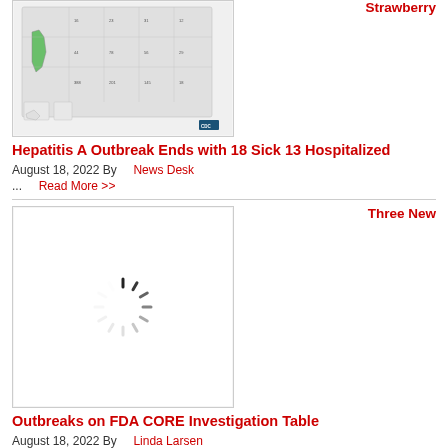[Figure (map): US map with California highlighted in green, showing state-level data with numbers, CDC logo in lower right]
Strawberry
Hepatitis A Outbreak Ends with 18 Sick 13 Hospitalized
August 18, 2022 By   News Desk
...   Read More >>
[Figure (photo): Loading spinner icon on white background]
Three New
Outbreaks on FDA CORE Investigation Table
August 18, 2022 By   Linda Larsen